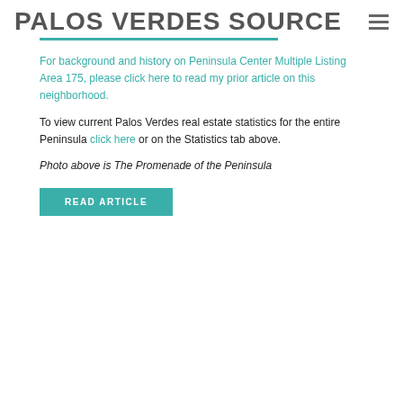PALOS VERDES SOURCE
For background and history on Peninsula Center Multiple Listing Area 175, please click here to read my prior article on this neighborhood.
To view current Palos Verdes real estate statistics for the entire Peninsula click here or on the Statistics tab above.
Photo above is The Promenade of the Peninsula
READ ARTICLE